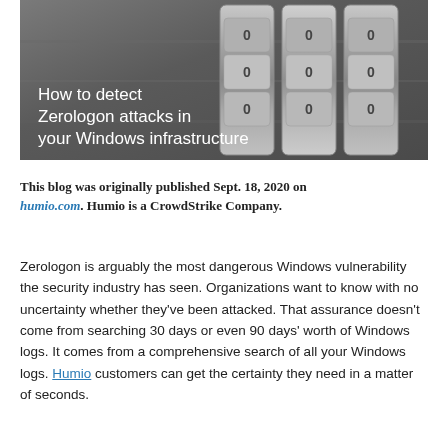[Figure (photo): Close-up photo of combination lock dials (metal, numbered) with white text overlay reading 'How to detect Zerologon attacks in your Windows infrastructure']
This blog was originally published Sept. 18, 2020 on humio.com. Humio is a CrowdStrike Company.
Zerologon is arguably the most dangerous Windows vulnerability the security industry has seen. Organizations want to know with no uncertainty whether they've been attacked. That assurance doesn't come from searching 30 days or even 90 days' worth of Windows logs. It comes from a comprehensive search of all your Windows logs. Humio customers can get the certainty they need in a matter of seconds.